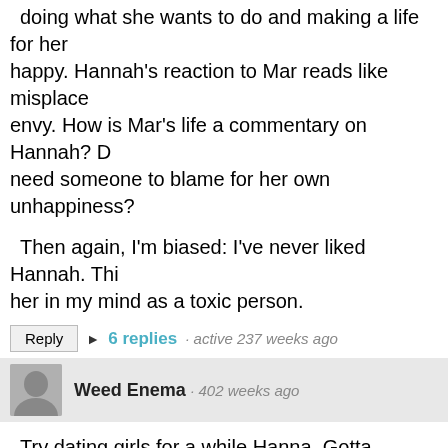doing what she wants to do and making a life for her happy. Hannah's reaction to Mar reads like misplaced envy. How is Mar's life a commentary on Hannah? D need someone to blame for her own unhappiness?
Then again, I'm biased: I've never liked Hannah. Thi her in my mind as a toxic person.
Reply  ▶ 6 replies · active 237 weeks ago
Weed Enema · 402 weeks ago
Try dating girls for a while Hanna. Gotta cHange it u
Reply
wowzow · 402 weeks ago
Cinderella lost her shoes.
Reply  ▶ 1 reply · active 402 weeks ago
Yotomoe · 402 weeks ago
I'm not 100% sure, Hanna, but I think she thinks she